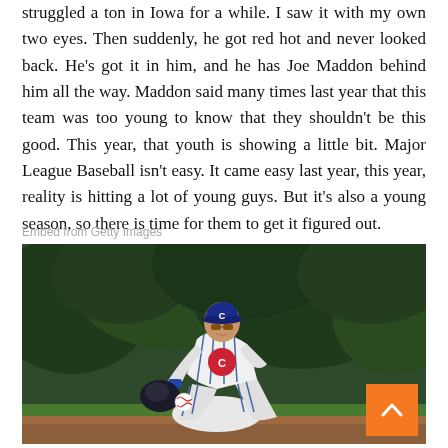struggled a ton in Iowa for a while. I saw it with my own two eyes. Then suddenly, he got red hot and never looked back. He's got it in him, and he has Joe Maddon behind him all the way. Maddon said many times last year that this team was too young to know that they shouldn't be this good. This year, that youth is showing a little bit. Major League Baseball isn't easy. It came easy last year, this year, reality is hitting a lot of young guys. But it's also a young season, so there is time for them to get it figured out.
Embed from Getty Images
[Figure (photo): A Chicago Cubs baseball player in white pinstripe uniform and blue Cubs cap fielding a ground ball, crouching low with glove extended, on a baseball field with green foliage in the background.]